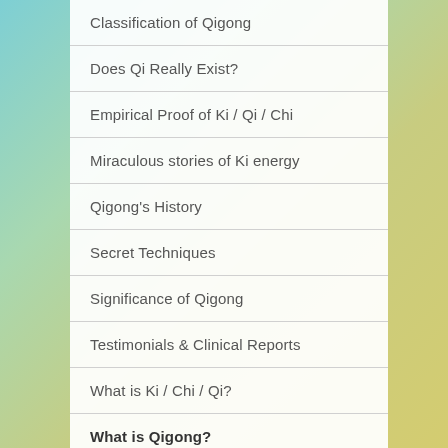Classification of Qigong
Does Qi Really Exist?
Empirical Proof of Ki / Qi / Chi
Miraculous stories of Ki energy
Qigong's History
Secret Techniques
Significance of Qigong
Testimonials & Clinical Reports
What is Ki / Chi / Qi?
What is Qigong?